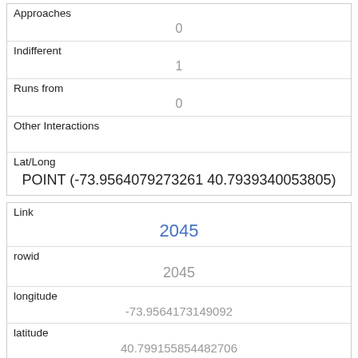| Field | Value |
| --- | --- |
| Approaches | 0 |
| Indifferent | 1 |
| Runs from | 0 |
| Other Interactions |  |
| Lat/Long | POINT (-73.9564079273261 40.7939340053805) |
| Field | Value |
| --- | --- |
| Link | 2045 |
| rowid | 2045 |
| longitude | -73.9564173149092 |
| latitude | 40.799155854482706 |
| Unique Squirrel ID |  |